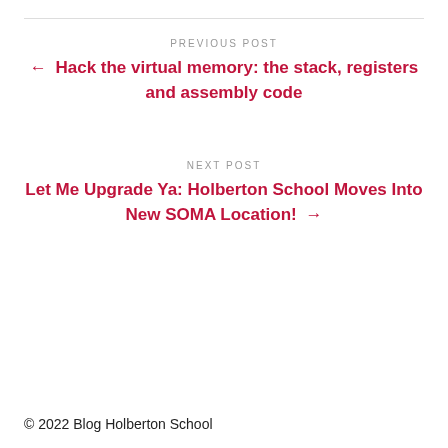PREVIOUS POST
← Hack the virtual memory: the stack, registers and assembly code
NEXT POST
Let Me Upgrade Ya: Holberton School Moves Into New SOMA Location! →
© 2022 Blog Holberton School